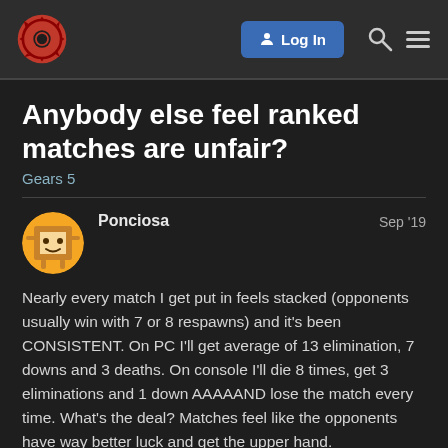[Figure (screenshot): Gears of War forum navigation bar with red gear logo, Log In button, search icon, and hamburger menu]
Anybody else feel ranked matches are unfair?
Gears 5
Ponciosa   Sep '19
Nearly every match I get put in feels stacked (opponents usually win with 7 or 8 respawns) and it's been CONSISTENT. On PC I'll get average of 13 elimination, 7 downs and 3 deaths. On console I'll die 8 times, get 3 eliminations and 1 down AAAAAND lose the match every time. What's the deal? Matches feel like the opponents have way better luck and get the upper hand.
Ill also clearly get a gnasher kill and the game wont register, then get killed the same way because my kill didnt register, as indicated by the killcam.
Fix your game, it's not fun at this point on co
1 / 8